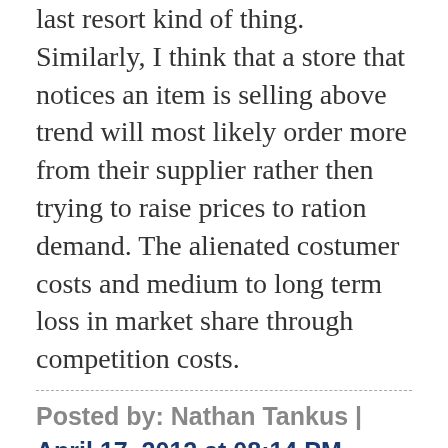last resort kind of thing. Similarly, I think that a store that notices an item is selling above trend will most likely order more from their supplier rather then trying to raise prices to ration demand. The alienated costumer costs and medium to long term loss in market share through competition costs.
Posted by: Nathan Tankus | April 17, 2012 at 08:14 PM
philippe @ April 17, 2012 at 08:57 AM,
It is difficult to resist a tool when you have it. I am a bit